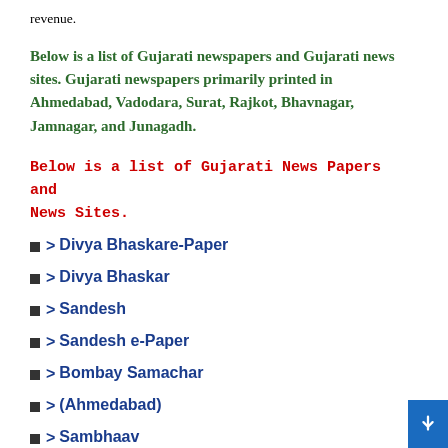revenue.
Below is a list of Gujarati newspapers and Gujarati news sites. Gujarati newspapers primarily printed in Ahmedabad, Vadodara, Surat, Rajkot, Bhavnagar, Jamnagar, and Junagadh.
Below is a list of Gujarati News Papers and News Sites.
> Divya Bhaskare-Paper
> Divya Bhaskar
> Sandesh
> Sandesh e-Paper
> Bombay Samachar
> (Ahmedabad)
> Sambhaav
> Nobat
> (Jamnagar)